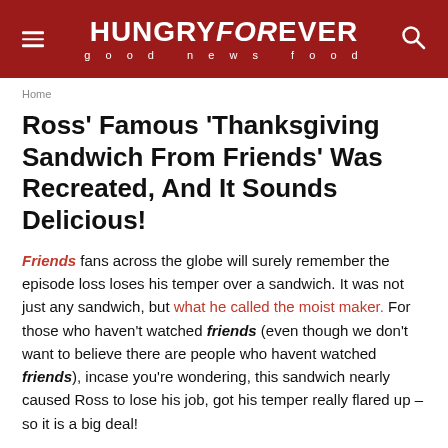HUNGRYFOREVER good news food
Home
Ross' Famous 'Thanksgiving Sandwich From Friends' Was Recreated, And It Sounds Delicious!
Friends fans across the globe will surely remember the episode loss loses his temper over a sandwich. It was not just any sandwich, but what he called the moist maker. For those who haven't watched friends (even though we don't want to believe there are people who havent watched friends), incase you're wondering, this sandwich nearly caused Ross to lose his job, got his temper really flared up – so it is a big deal!